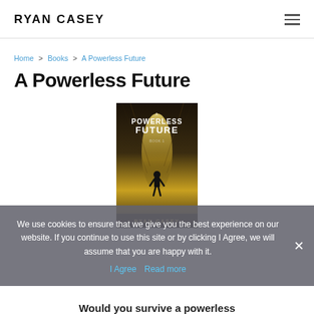RYAN CASEY
Home > Books > A Powerless Future
A Powerless Future
[Figure (illustration): Book cover of 'A Powerless Future' by Ryan Casey — dark sci-fi cover with a silhouetted figure in a glowing corridor, text 'A Powerless Future Book 1' and author name 'Ryan Casey' at the bottom]
We use cookies to ensure that we give you the best experience on our website. If you continue to use this site or by clicking I Agree, we will assume that you are happy with it.
I Agree   Read more
Would you survive a powerless